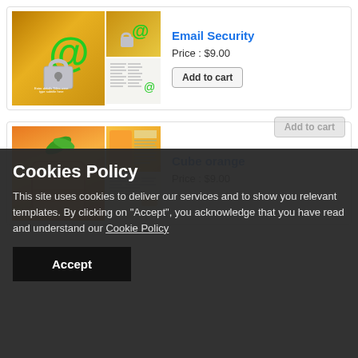[Figure (screenshot): Email Security product thumbnail - green @ symbol with padlock on golden background]
Email Security
Price : $9.00
Add to cart
[Figure (screenshot): Cube orange product thumbnail - cubic orange fruit with leaves on orange-yellow background]
Cube orange
Price : $9.00
Add to cart
Cookies Policy
This site uses cookies to deliver our services and to show you relevant templates. By clicking on "Accept", you acknowledge that you have read and understand our Cookie Policy
Accept